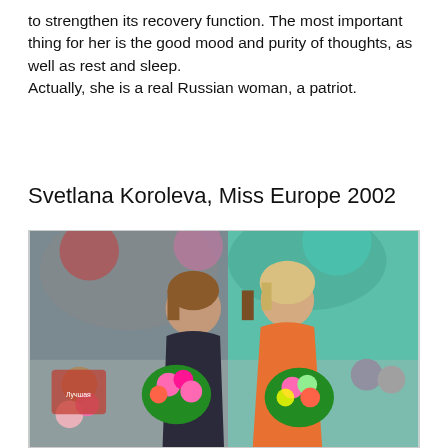to strengthen its recovery function. The most important thing for her is the good mood and purity of thoughts, as well as rest and sleep.
Actually, she is a real Russian woman, a patriot.
Svetlana Koroleva, Miss Europe 2002
[Figure (photo): Two women standing together holding large bouquets of flowers at what appears to be an event. One woman wears a dark corset-style top, the other wears an orange dress. There is a colorful stage backdrop behind them with other people visible in the background.]